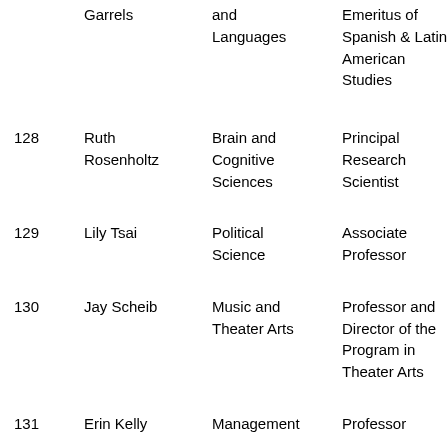| # | Name | Department | Title |
| --- | --- | --- | --- |
|  | Garrels | and Languages | Emeritus of Spanish & Latin American Studies |
| 128 | Ruth Rosenholtz | Brain and Cognitive Sciences | Principal Research Scientist |
| 129 | Lily Tsai | Political Science | Associate Professor |
| 130 | Jay Scheib | Music and Theater Arts | Professor and Director of the Program in Theater Arts |
| 131 | Erin Kelly | Management | Professor |
| 132 | Gene-Wei Li | Biology | Assistant |